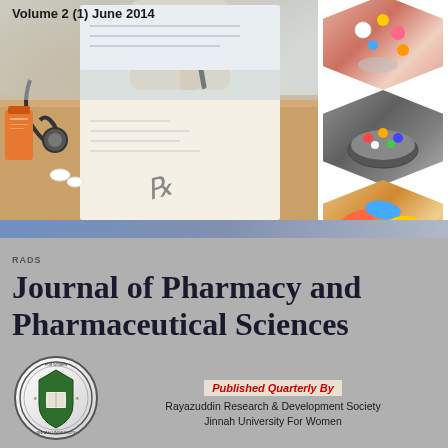Volume 2 (1) June 2014
[Figure (photo): Journal cover image showing a doctor's hand writing a prescription with a pen, stethoscope and medicine bottles visible on the left, and hexagonal pharmacy/medicine images on the right column]
RADS Journal of Pharmacy and Pharmaceutical Sciences
ISSN 2311-4673
[Figure (logo): Jinnah University for Women circular logo/seal]
Published Quarterly By Rayazuddin Research & Development Society Jinnah University For Women